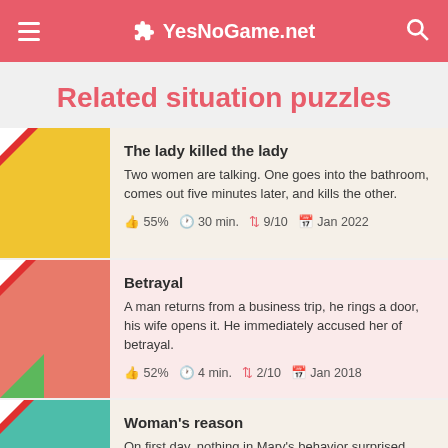YesNoGame.net
Related situation puzzles
The lady killed the lady
Two women are talking. One goes into the bathroom, comes out five minutes later, and kills the other.
55%  30 min.  9/10  Jan 2022
Betrayal
A man returns from a business trip, he rings a door, his wife opens it. He immediately accused her of betrayal.
52%  4 min.  2/10  Jan 2018
Woman's reason
On first day, nothing in Mary's behavior surprised John.